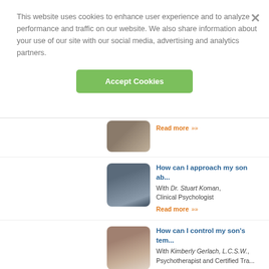This website uses cookies to enhance user experience and to analyze performance and traffic on our website. We also share information about your use of our site with our social media, advertising and analytics partners.
Accept Cookies
Read more
How can I approach my son ab...
With Dr. Stuart Koman, Clinical Psychologist
Read more
How can I control my son's tem...
With Kimberly Gerlach, L.C.S.W., Psychotherapist and Certified Tra...
Read more
How can I fulfill my caregiving...
overwhelmed or guilty?